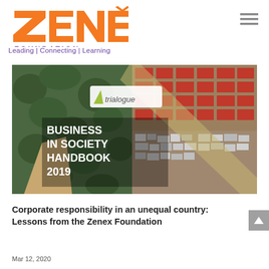[Figure (logo): Zenex Foundation logo — orange stylized 'ZENEX' text with purple 'FOUNDATION' below]
Leading | Connecting | Learning
[Figure (photo): Trialogue Business in Society Handbook 2019 cover — aerial photograph showing contrast between informal settlement and formal housing; text overlay reads 'trialogue BUSINESS IN SOCIETY HANDBOOK 2019']
Corporate responsibility in an unequal country: Lessons from the Zenex Foundation
Mar 12, 2020